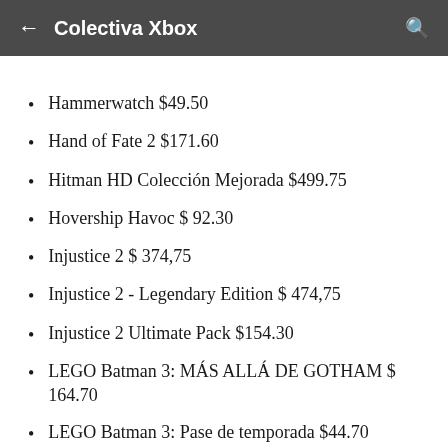← Colectiva Xbox
Hammerwatch $49.50
Hand of Fate 2 $171.60
Hitman HD Colección Mejorada $499.75
Hovership Havoc $ 92.30
Injustice 2 $ 374,75
Injustice 2 - Legendary Edition $ 474,75
Injustice 2 Ultimate Pack $154.30
LEGO Batman 3: MÁS ALLÁ DE GOTHAM $ 164.70
LEGO Batman 3: Pase de temporada $44.70
LEGO CITY Undercover $ 249.75
LEGO DC Super-Villains $ 474.75